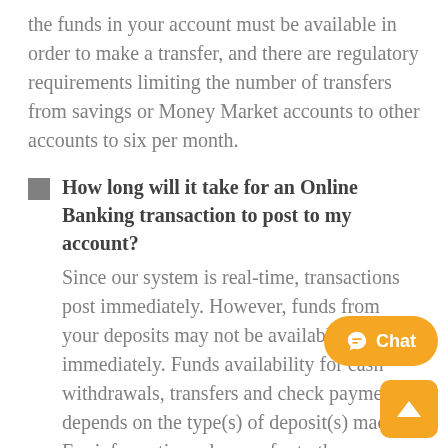the funds in your account must be available in order to make a transfer, and there are regulatory requirements limiting the number of transfers from savings or Money Market accounts to other accounts to six per month.
How long will it take for an Online Banking transaction to post to my account? Since our system is real-time, transactions post immediately. However, funds from your deposits may not be available immediately. Funds availability for cash withdrawals, transfers and check payments depends on the type(s) of deposit(s) made. For information, please refer to the disclosures provided to you at the time you opened your account.